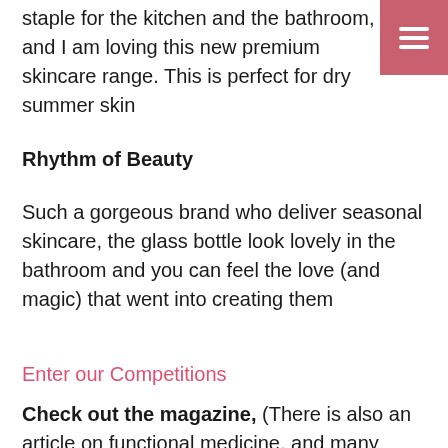staple for the kitchen and the bathroom, and I am loving this new premium skincare range. This is perfect for dry summer skin
Rhythm of Beauty
Such a gorgeous brand who deliver seasonal skincare, the glass bottle look lovely in the bathroom and you can feel the love (and magic) that went into creating them
Enter our Competitions
Check out the magazine, (There is also an article on functional medicine, and many more by health and wellbeing authors.
[Figure (photo): Partial view of a Health magazine cover with grey/taupe background showing the word 'Health' in white bold text and small text reading '100 June 2022' in the upper right area.]